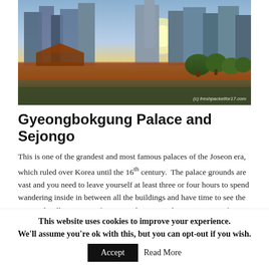[Figure (photo): Cityscape photograph showing modern skyscrapers behind traditional Korean palace wall with trees in foreground, sunset/golden hour lighting. Watermark reads '(c) freshpacketfor17.com']
Gyeongbokgung Palace and Sejongo
This is one of the grandest and most famous palaces of the Joseon era, which ruled over Korea until the 16th century. The palace grounds are vast and you need to leave yourself at least three or four hours to spend wandering inside in between all the buildings and have time to see the National Folk Museum of Korea and Joseon Palace Museum. If you walk right through the palace grounds you will emerge from the northern gate
This website uses cookies to improve your experience. We'll assume you're ok with this, but you can opt-out if you wish. Accept Read More